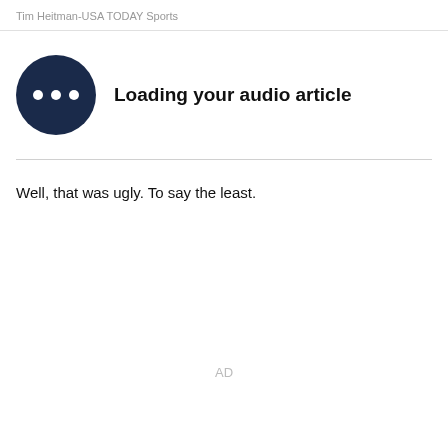Tim Heitman-USA TODAY Sports
[Figure (illustration): Dark navy circle with three white dots (loading indicator) next to bold text 'Loading your audio article']
Well, that was ugly. To say the least.
AD